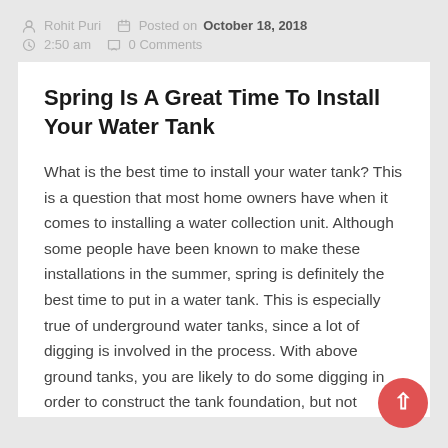Rohit Puri  Posted on  October 18, 2018  2:50 am  0 Comments
Spring Is A Great Time To Install Your Water Tank
What is the best time to install your water tank? This is a question that most home owners have when it comes to installing a water collection unit. Although some people have been known to make these installations in the summer, spring is definitely the best time to put in a water tank. This is especially true of underground water tanks, since a lot of digging is involved in the process. With above ground tanks, you are likely to do some digging in order to construct the tank foundation, but not anywhere near the levels of